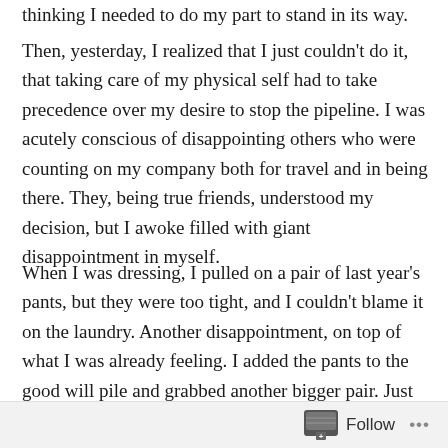thinking I needed to do my part to stand in its way.
Then, yesterday, I realized that I just couldn't do it, that taking care of my physical self had to take precedence over my desire to stop the pipeline. I was acutely conscious of disappointing others who were counting on my company both for travel and in being there. They, being true friends, understood my decision, but I awoke filled with giant disappointment in myself.
When I was dressing, I pulled on a pair of last year's pants, but they were too tight, and I couldn't blame it on the laundry. Another disappointment, on top of what I was already feeling. I added the pants to the good will pile and grabbed another bigger pair. Just then my husband walked into our room and caressed me, saying,
Follow